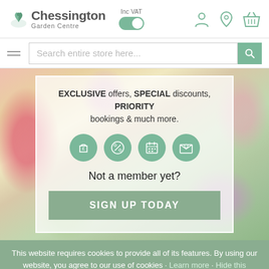Chessington Garden Centre — Inc VAT toggle, user/location/basket icons
Search entire store here...
[Figure (screenshot): Chessington Garden Centre membership promotion banner over flower background with white semi-transparent box containing: EXCLUSIVE offers, SPECIAL discounts, PRIORITY bookings & much more. Four green icon circles (shopping bag with £, percentage badge, calendar, envelope). Text: Not a member yet? SIGN UP TODAY button.]
This website requires cookies to provide all of its features. By using our website, you agree to our use of cookies · Learn more · Hide this message